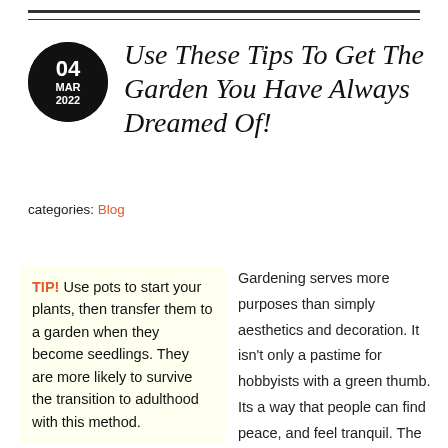[Figure (other): Black circle with date: 04 MAR 2022]
Use These Tips To Get The Garden You Have Always Dreamed Of!
categories: Blog
TIP! Use pots to start your plants, then transfer them to a garden when they become seedlings. They are more likely to survive the transition to adulthood with this method.
Gardening serves more purposes than simply aesthetics and decoration. It isn't only a pastime for hobbyists with a green thumb. Its a way that people can find peace, and feel tranquil. The effects are huge, especially if